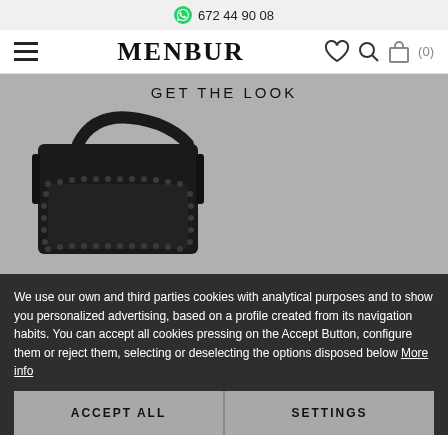672 44 90 08
MENBUR
GET THE LOOK
[Figure (photo): Black leather handbag with studded trim and shoulder strap displayed against grey background]
We use our own and third parties cookies with analytical purposes and to show you personalized advertising, based on a profile created from its navigation habits. You can accept all cookies pressing on the Accept Button, configure them or reject them, selecting or deselecting the options disposed below More info
ACCEPT ALL
SETTINGS